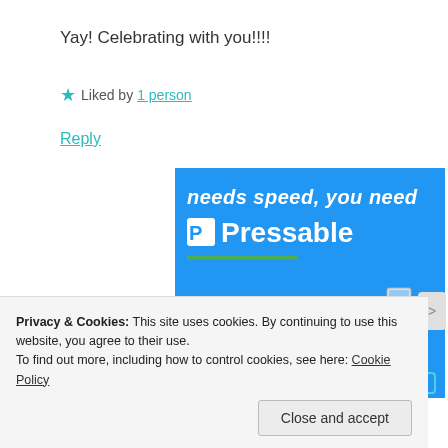Yay! Celebrating with you!!!!
★ Liked by 1 person
Reply
[Figure (screenshot): Pressable hosting advertisement banner with blue background, italic text 'needs speed, you need', bold white 'Pressable' logo text with 'P' in white box, green underline, and a person flying with a laptop.]
Privacy & Cookies: This site uses cookies. By continuing to use this website, you agree to their use.
To find out more, including how to control cookies, see here: Cookie Policy
Close and accept